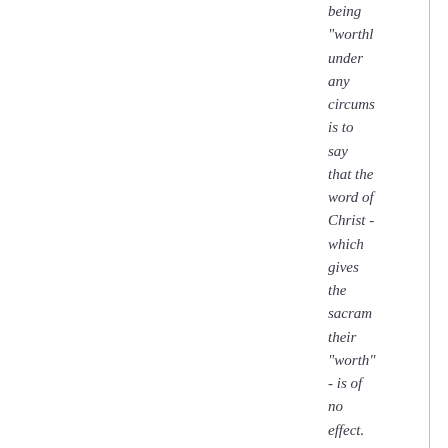being "worthly under any circums is to say that the word of Christ - which gives the sacrame their "worth" - is of no effect.